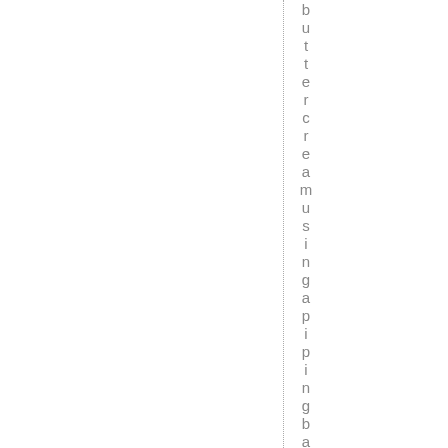buttercreammusingapipingbagorap